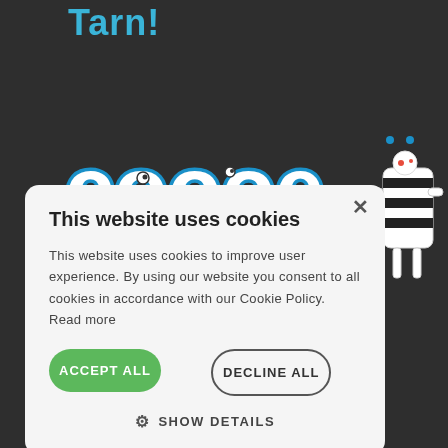Tarn!
[Figure (illustration): Colorful cartoon cookie-themed logo with blue outlined bubble letters spelling 'coooe' with cartoon characters and a decorative figure on the right side]
This website uses cookies
This website uses cookies to improve user experience. By using our website you consent to all cookies in accordance with our Cookie Policy. Read more
ACCEPT ALL
DECLINE ALL
SHOW DETAILS